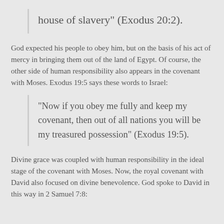house of slavery” (Exodus 20:2).
God expected his people to obey him, but on the basis of his act of mercy in bringing them out of the land of Egypt. Of course, the other side of human responsibility also appears in the covenant with Moses. Exodus 19:5 says these words to Israel:
“Now if you obey me fully and keep my covenant, then out of all nations you will be my treasured possession” (Exodus 19:5).
Divine grace was coupled with human responsibility in the ideal stage of the covenant with Moses. Now, the royal covenant with David also focused on divine benevolence. God spoke to David in this way in 2 Samuel 7:8: